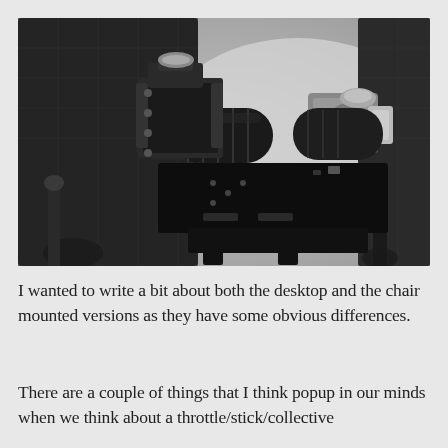[Figure (photo): A chair-mounted throttle/stick/collective controller device attached to the armrest of a black office/gaming chair. The device has metallic and black components including grips, brackets, and mechanical hardware.]
I wanted to write a bit about both the desktop and the chair mounted versions as they have some obvious differences.
There are a couple of things that I think popup in our minds when we think about a throttle/stick/collective